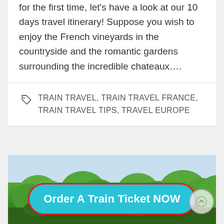for the first time, let's have a look at our 10 days travel itinerary! Suppose you wish to enjoy the French vineyards in the countryside and the romantic gardens surrounding the incredible chateaux….
TRAIN TRAVEL, TRAIN TRAVEL FRANCE, TRAIN TRAVEL TIPS, TRAVEL EUROPE
[Figure (photo): A landscape photo showing green trees and a light blue sky, partially visible at the bottom of the page.]
Order A Train Ticket NOW